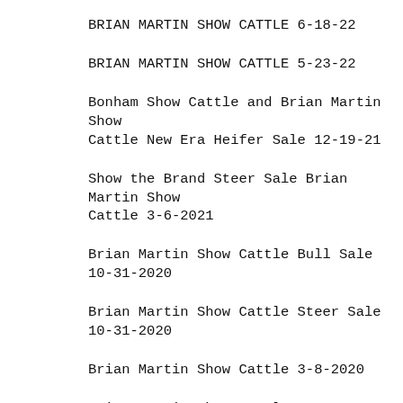BRIAN MARTIN SHOW CATTLE 6-18-22
BRIAN MARTIN SHOW CATTLE 5-23-22
Bonham Show Cattle and Brian Martin Show Cattle New Era Heifer Sale 12-19-21
Show the Brand Steer Sale Brian Martin Show Cattle 3-6-2021
Brian Martin Show Cattle Bull Sale 10-31-2020
Brian Martin Show Cattle Steer Sale 10-31-2020
Brian Martin Show Cattle 3-8-2020
Brian Martin Show Cattle 11-14-19
Brian Martin Show Cattle Feeder Sale 5-18-19